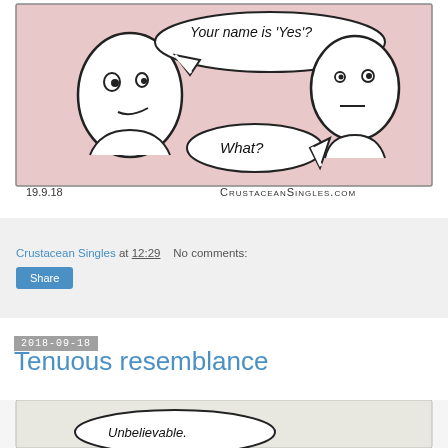[Figure (illustration): Webcomic panel showing two stick-figure-like characters with oval heads. Left character has a speech bubble saying "Your name is 'Yes'?" and right character has a speech bubble saying "What?" Background is pinkish-beige. Date 19.9.18 and CRUSTACEANSINGLES.com at bottom.]
Crustacean Singles at 12:29   No comments:
Share
2018-09-18
Tenuous resemblance
[Figure (illustration): Partial view of a second comic panel showing a speech bubble with 'Unbelievable.' text, cut off at bottom of page.]